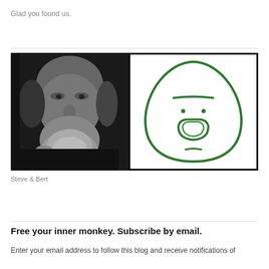Glad you found us.
[Figure (photo): Side-by-side image: left side is a black-and-white close-up photo of a bearded man resting his chin on his hand; right side is a simple green cartoon drawing of a triangular creature with eyes, a nose-like arch, and a small mouth on a white background.]
Steve & Bert
Free your inner monkey. Subscribe by email.
Enter your email address to follow this blog and receive notifications of